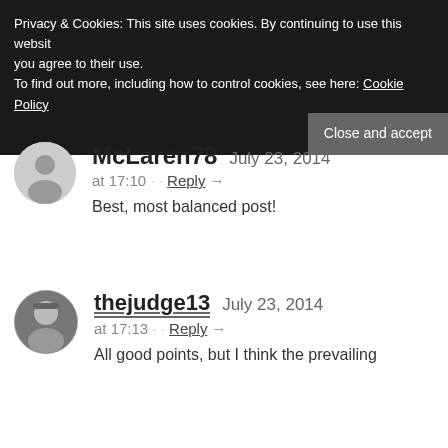Privacy & Cookies: This site uses cookies. By continuing to use this website, you agree to their use. To find out more, including how to control cookies, see here: Cookie Policy
Close and accept
McLaren78   July 23, 2014 at 17:10 · · Reply →
Best, most balanced post!
thejudge13   July 23, 2014 at 17:13 · · Reply →
All good points, but I think the prevailing